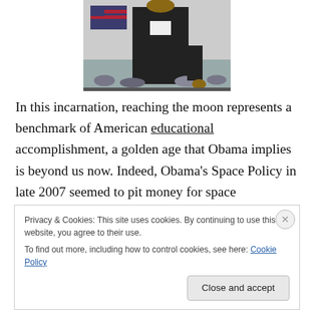[Figure (photo): Person in dark suit standing at a podium with an American flag visible in background and crowd below]
In this incarnation, reaching the moon represents a benchmark of American educational accomplishment, a golden age that Obama implies is beyond us now. Indeed, Obama's Space Policy in late 2007 seemed to pit money for space exploration up against federal money for education. Said Obama:
Privacy & Cookies: This site uses cookies. By continuing to use this website, you agree to their use.
To find out more, including how to control cookies, see here: Cookie Policy
Close and accept